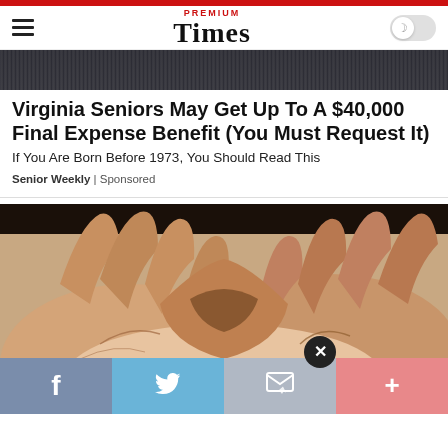PREMIUM Times
[Figure (photo): Partial photo of people at the top of the page, dark background]
Virginia Seniors May Get Up To A $40,000 Final Expense Benefit (You Must Request It)
If You Are Born Before 1973, You Should Read This
Senior Weekly | Sponsored
[Figure (photo): Close-up photo of two elderly hands clasped together, palms facing up]
f  [twitter bird]  [email icon]  x  +